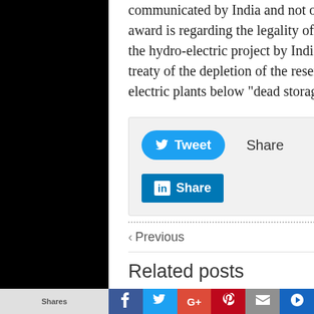communicated by India and not objected to by Pakistan. The award is regarding the legality of construction and operation of the hydro-electric project by India and the permissibility under the treaty of the depletion of the reservoirs of certain Indian hydro-electric plants below "dead storage level".
[Figure (screenshot): Social media share buttons box with Tweet button (blue, rounded), Share text, and LinkedIn Share button (blue rectangle with 'in' logo)]
< Previous
Next >
Related posts
[Figure (photo): Related post thumbnail image (partial, brownish/orange tones)]
Shares | Facebook | Twitter | Google+ | Pinterest | Mail | Mixi